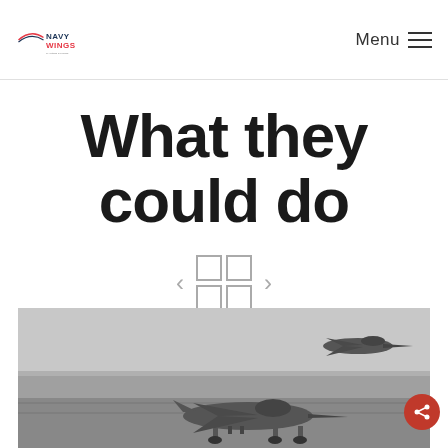Navy Wings | Menu
What they could do
[Figure (other): Navigation icons: left arrow, 2x2 grid icon, right arrow]
[Figure (photo): Black and white photograph of military jet aircraft (Harrier-type) on an aircraft carrier deck, with another aircraft visible in the air above]